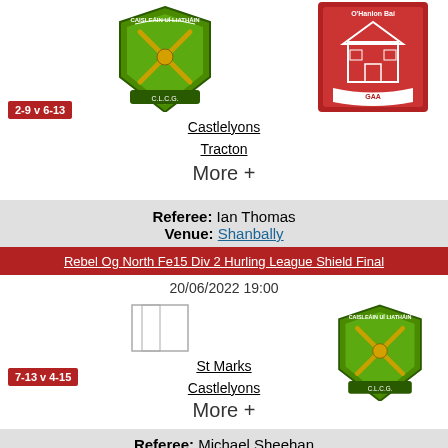[Figure (logo): Castlelyons GAA club crest (green shield with crossed hurleys, C.L.C.G.)]
[Figure (logo): Tracton GAA club crest (red background with building, GAA text)]
Castlelyons
2-9 v 6-13
Tracton
More +
Referee: Ian Thomas
Venue: Shanbally
Rebel Og North Fe15 Div 2 Hurling League Shield Final
20/06/2022 19:00
[Figure (logo): St Marks placeholder logo (outline rectangle)]
[Figure (logo): Castlelyons GAA club crest (green shield with crossed hurleys, C.L.C.G.)]
St Marks
7-13 v 4-15
Castlelyons
More +
Referee: Michael Sheehan